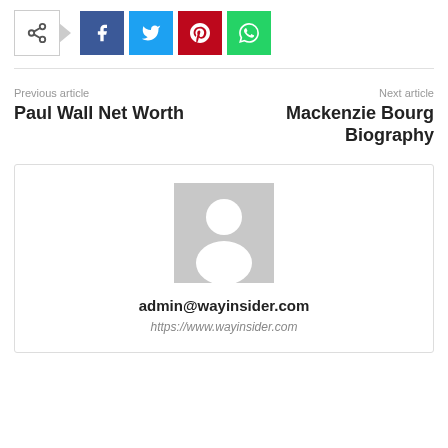[Figure (other): Social share bar with share icon, Facebook, Twitter, Pinterest, and WhatsApp buttons]
Previous article
Paul Wall Net Worth
Next article
Mackenzie Bourg Biography
[Figure (other): Author box with placeholder avatar silhouette, email admin@wayinsider.com and URL https://www.wayinsider.com]